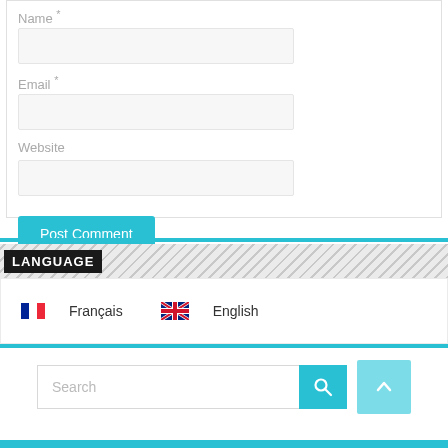Name *
[Figure (screenshot): Text input field for Name]
Email *
[Figure (screenshot): Text input field for Email]
Website
[Figure (screenshot): Text input field for Website]
[Figure (screenshot): Post Comment button (cyan/teal)]
LANGUAGE
Français   English
[Figure (screenshot): Search bar with search button and up arrow button]